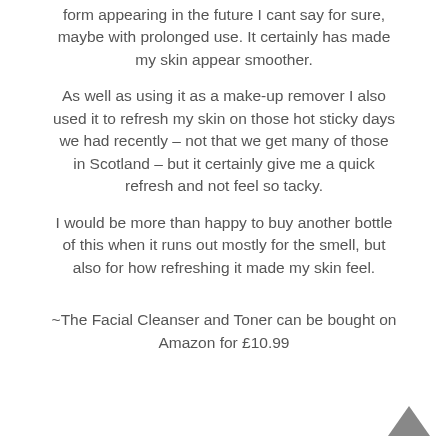form appearing in the future I cant say for sure, maybe with prolonged use. It certainly has made my skin appear smoother.
As well as using it as a make-up remover I also used it to refresh my skin on those hot sticky days we had recently – not that we get many of those in Scotland – but it certainly give me a quick refresh and not feel so tacky.
I would be more than happy to buy another bottle of this when it runs out mostly for the smell, but also for how refreshing it made my skin feel.
~The Facial Cleanser and Toner can be bought on Amazon for £10.99